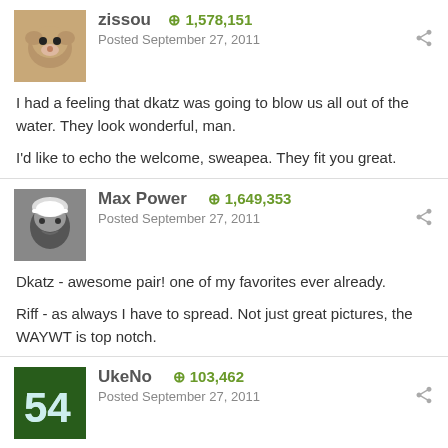zissou  +1,578,151
Posted September 27, 2011
I had a feeling that dkatz was going to blow us all out of the water. They look wonderful, man.

I'd like to echo the welcome, sweapea. They fit you great.
Max Power  +1,649,353
Posted September 27, 2011
Dkatz - awesome pair! one of my favorites ever already.

Riff - as always I have to spread. Not just great pictures, the WAYWT is top notch.
UkeNo  +103,462
Posted September 27, 2011